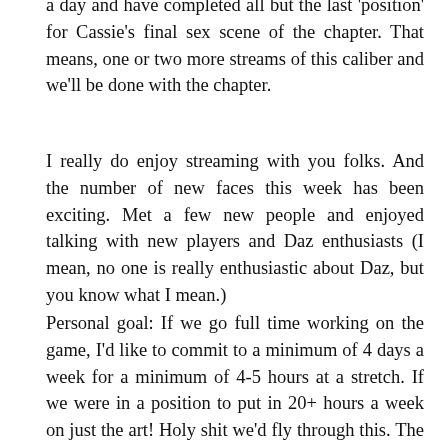a day and have completed all but the last 'position' for Cassie's final sex scene of the chapter. That means, one or two more streams of this caliber and we'll be done with the chapter.
I really do enjoy streaming with you folks. And the number of new faces this week has been exciting. Met a few new people and enjoyed talking with new players and Daz enthusiasts (I mean, no one is really enthusiastic about Daz, but you know what I mean.)
Personal goal: If we go full time working on the game, I'd like to commit to a minimum of 4 days a week for a minimum of 4-5 hours at a stretch. If we were in a position to put in 20+ hours a week on just the art! Holy shit we'd fly through this. The remaining 20 hours would then be spent doing writing each week, post production on the images we made during the week, and then building out new playtests almost weekly.